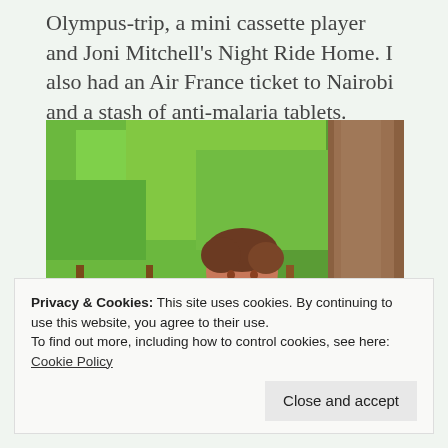Olympus-trip, a mini cassette player and Joni Mitchell's Night Ride Home. I also had an Air France ticket to Nairobi and a stash of anti-malaria tablets.
[Figure (photo): A person with short brown hair leaning against a large tree trunk on a wooden deck or platform, surrounded by green foliage. The person is wearing a blue patterned top and is looking slightly to the side.]
Privacy & Cookies: This site uses cookies. By continuing to use this website, you agree to their use.
To find out more, including how to control cookies, see here: Cookie Policy
Close and accept